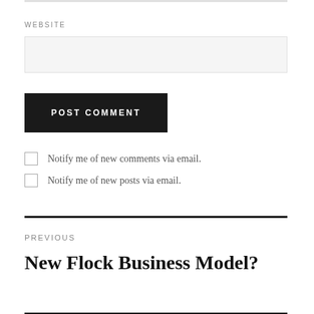WEBSITE
[Figure (other): Website text input field (empty, light gray background)]
POST COMMENT
Notify me of new comments via email.
Notify me of new posts via email.
PREVIOUS
New Flock Business Model?